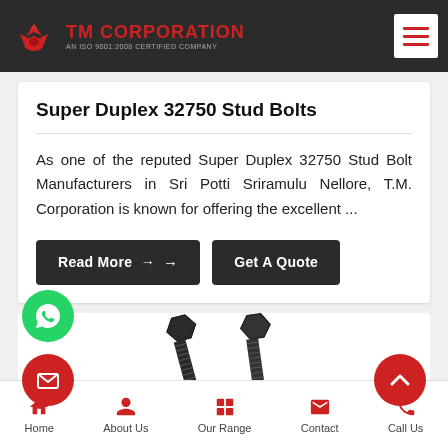TM CORPORATION — AN ISO 9001:2008 CERTIFIED COMPANY
Super Duplex 32750 Stud Bolts
As one of the reputed Super Duplex 32750 Stud Bolt Manufacturers in Sri Potti Sriramulu Nellore, T.M. Corporation is known for offering the excellent ...
Read More → | Get A Quote
[Figure (photo): Photo of dark-colored stud bolts with hex nuts on a white background]
Home | About Us | Our Range | Contact | Call Us